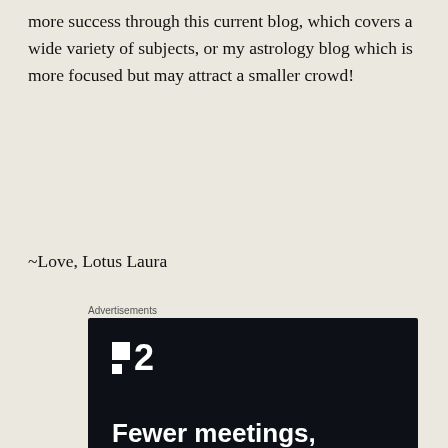more success through this current blog, which covers a wide variety of subjects, or my astrology blog which is more focused but may attract a smaller crowd!
~Love, Lotus Laura
Advertisements
[Figure (other): Advertisement for a project management tool. Dark background with a logo showing two squares and the number 2, headline text 'Fewer meetings, more work.' and a button 'Get started for free'.]